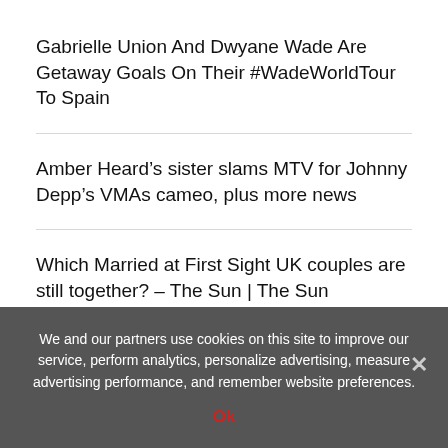Gabrielle Union And Dwyane Wade Are Getaway Goals On Their #WadeWorldTour To Spain
Amber Heard's sister slams MTV for Johnny Depp's VMAs cameo, plus more news
Which Married at First Sight UK couples are still together? – The Sun | The Sun
Frozen pizza recalled due to lack of federal inspection
We and our partners use cookies on this site to improve our service, perform analytics, personalize advertising, measure advertising performance, and remember website preferences.
Ok